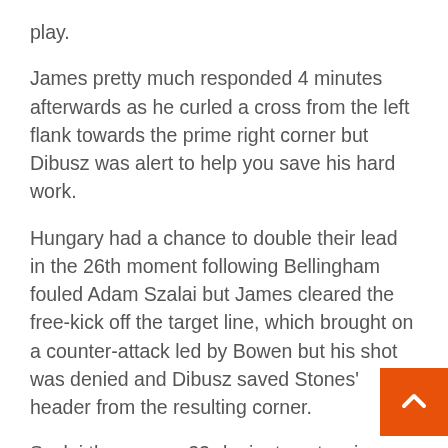play.
James pretty much responded 4 minutes afterwards as he curled a cross from the left flank towards the prime right corner but Dibusz was alert to help you save his hard work.
Hungary had a chance to double their lead in the 26th moment following Bellingham fouled Adam Szalai but James cleared the free-kick off the target line, which brought on a counter-attack led by Bowen but his shot was denied and Dibusz saved Stones' header from the resulting corner.
Szalai then saw a 33rd minute extensive-assortment shot saved by Aaron Ramsdale as Hungary pressed hard to make an interception around the midway line, which quickly uncovered the Basel striker to unleash a